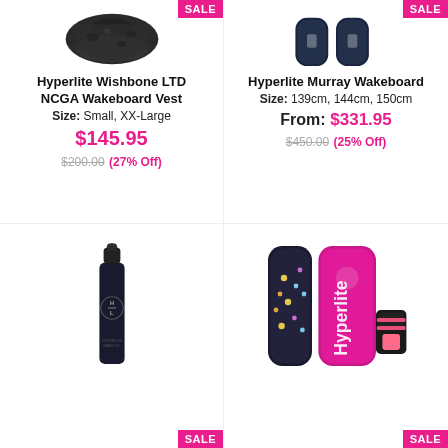[Figure (photo): Hyperlite Wishbone LTD NCGA Wakeboard Vest product image with SALE badge]
Hyperlite Wishbone LTD NCGA Wakeboard Vest
Size: Small, XX-Large
$145.95
$200.00 (27% Off)
[Figure (photo): Hyperlite Murray Wakeboard product image with SALE badge]
Hyperlite Murray Wakeboard
Size: 139cm, 144cm, 150cm
From: $331.95
$450.00 (25% Off)
[Figure (photo): Hyperlite Wake Co. dark bottle/thermos product image with SALE badge]
[Figure (photo): Hyperlite wakeboard set (black/colorful and pink boards with binding) product image with SALE badge]